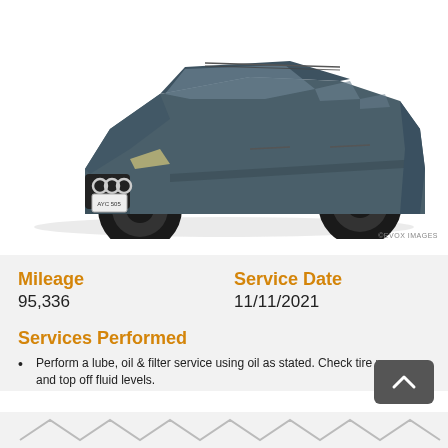[Figure (photo): Dark gray Audi Q7 SUV on white background, front three-quarter view, with black wheels]
©EVOX IMAGES
Mileage
95,336
Service Date
11/11/2021
Services Performed
Perform a lube, oil & filter service using oil as stated. Check tire pressures and top off fluid levels.